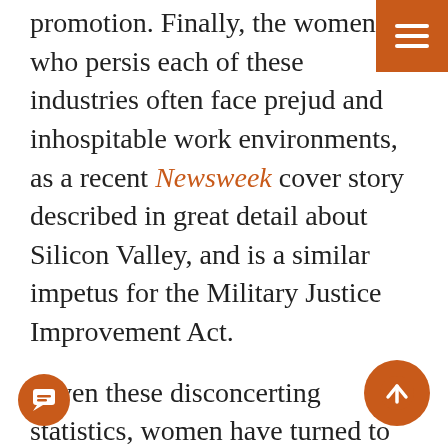promotion. Finally, the women who persist in each of these industries often face prejudice and inhospitable work environments, as a recent Newsweek cover story described in great detail about Silicon Valley, and is a similar impetus for the Military Justice Improvement Act.
Given these disconcerting statistics, women have turned to formal organizations to meet, mentor and support other women in their field. Women in the tech community have responded by creating chapters across the country focused on encouraging women to remain within the various STEM related fields. Groups Girls Who Code and TechBridge as well as women in tech meet-up groups help bring